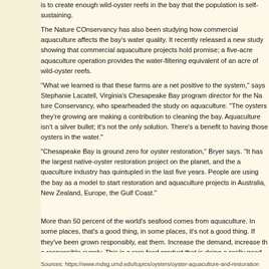is to create enough wild-oyster reefs in the bay that the population is self-sustaining. The Nature COnservancy has also been studying how commercial aquaculture affects the bay's water quality. It recently released a new study showing that commercial aquaculture projects hold promise; a five-acre aquaculture operation provides the water-filtering equivalent of an acre of wild-oyster reefs. "What we learned is that these farms are a net positive to the system," says Stephanie Lacatell, Virginia's Chesapeake Bay program director for the Nature Conservancy, who spearheaded the study on aquaculture. "The oysters they're growing are making a contribution to cleaning the bay. Aquaculture isn't a silver bullet; it's not the only solution. There's a benefit to having those oysters in the water." "Chesapeake Bay is ground zero for oyster restoration," Bryer says. "It has the largest native-oyster restoration project on the planet, and the aquaculture industry has quintupled in the last five years. People are using the bay as a model to start restoration and aquaculture projects in Australia, New Zealand, Europe, the Gulf Coast." More than 50 percent of the world's seafood comes from aquaculture. In some places, that's a good thing, in some places, it's not a good thing. If they've been grown responsibly, eat them. Increase the demand, increase the responsible supply. This is a rare food product that is doing a really good thing for the environment.
Sources: https://www.mdsg.umd.edu/topics/oysters/oyster-aquaculture-and-restoration